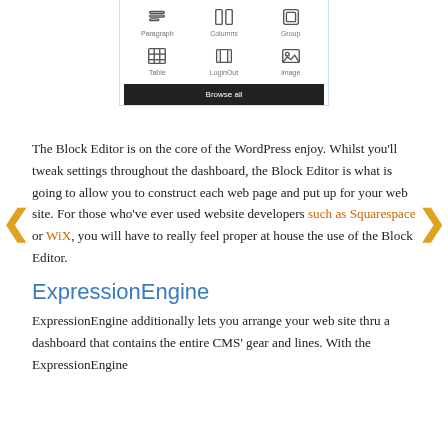[Figure (screenshot): WordPress Block Editor block picker UI showing a grid of block types: Paragraph, Columns, Group, Table, LoginOut, Image, and a 'Browse all' button]
The Block Editor is on the core of the WordPress enjoy. Whilst you'll tweak settings throughout the dashboard, the Block Editor is what is going to allow you to construct each web page and put up for your web site. For those who've ever used website developers such as Squarespace or WiX, you will have to really feel proper at house the use of the Block Editor.
ExpressionEngine
ExpressionEngine additionally lets you arrange your web site thru a dashboard that contains the entire CMS' gear and lines. With the ExpressionEngine